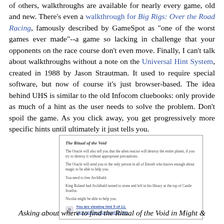of others, walkthroughs are available for nearly every game, old and new. There's even a walkthrough for Big Rigs: Over the Road Racing, famously described by GameSpot as "one of the worst games ever made"--a game so lacking in challenge that your opponents on the race course don't even move. Finally, I can't talk about walkthroughs without a note on the Universal Hint System, created in 1988 by Jason Strautman. It used to require special software, but now of course it's just browser-based. The idea behind UHS is similar to the old Infocom cluebooks: only provide as much of a hint as the user needs to solve the problem. Don't spoil the game. As you click away, you get progressively more specific hints until ultimately it just tells you.
[Figure (screenshot): Screenshot of Universal Hint System showing 'The Ritual of the Void' hint page with progressive hints about freeing Archibald, and a 'You are viewing hint 5 of 11. Click here to show another hint.' link at the bottom.]
Asking about where to find the Ritual of the Void in Might &